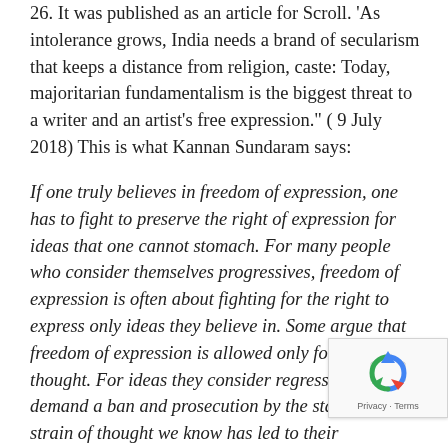26. It was published as an article for Scroll. 'As intolerance grows, India needs a brand of secularism that keeps a distance from religion, caste: Today, majoritarian fundamentalism is the biggest threat to a writer and an artist's free expression.' ( 9 July 2018) This is what Kannan Sundaram says:
If one truly believes in freedom of expression, one has to fight to preserve the right of expression for ideas that one cannot stomach. For many people who consider themselves progressives, freedom of expression is often about fighting for the right to express only ideas they believe in. Some argue that freedom of expression is allowed only for rational thought. For ideas they consider regressive, they demand a ban and prosecution by the state. This strain of thought we know has led to their imprisonment and numbers of writers...